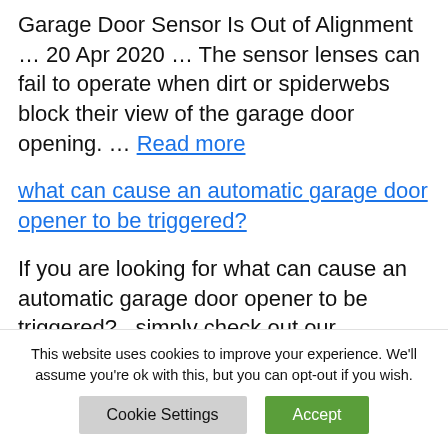Garage Door Sensor Is Out of Alignment … 20 Apr 2020 … The sensor lenses can fail to operate when dirt or spiderwebs block their view of the garage door opening. … Read more
what can cause an automatic garage door opener to be triggered?
If you are looking for what can cause an automatic garage door opener to be triggered? , simply check out our
This website uses cookies to improve your experience. We'll assume you're ok with this, but you can opt-out if you wish.